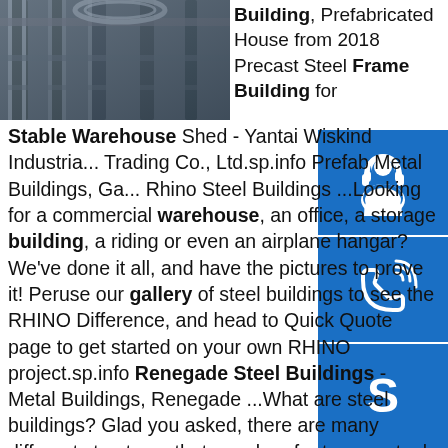[Figure (photo): Photograph of steel structural building columns and framework, industrial interior view]
Building, Prefabricated House from 2018 Precast Steel Frame Building for Stable Warehouse Shed - Yantai Wiskind Industrial Trading Co., Ltd.sp.info Prefab Metal Buildings, Ga... Rhino Steel Buildings ...Looking for a commercial warehouse, an office, a storage building, a riding or even an airplane hangar? We've done it all, and have the pictures to prove it! Peruse our gallery of steel buildings to see the RHINO Difference, and head to Quick Quote page to get started on your own RHINO project.sp.info Renegade Steel Buildings - Metal Buildings, Renegade ...What are steel buildings? Glad you asked, there are many different structures that people refer to as a steel or metal building. It can be anything from a "pole barn" to an aluminum frame garage up to what we sell, which is a "Red Iron" all steel building.sp.info Buildings For Sale, LTH Steel StructuresRed Iron Building Quote; Simple Box Building Quote; About Us;